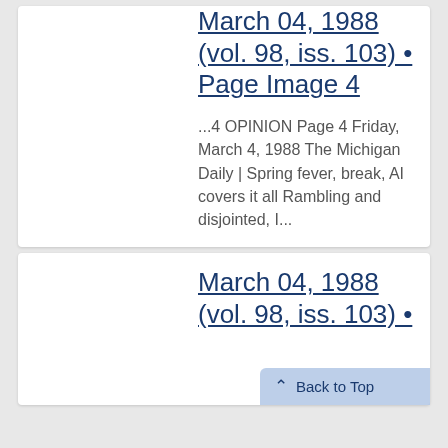March 04, 1988 (vol. 98, iss. 103) • Page Image 4
...4 OPINION Page 4 Friday, March 4, 1988 The Michigan Daily | Spring fever, break, AI covers it all Rambling and disjointed, I...
March 04, 1988 (vol. 98, iss. 103) •